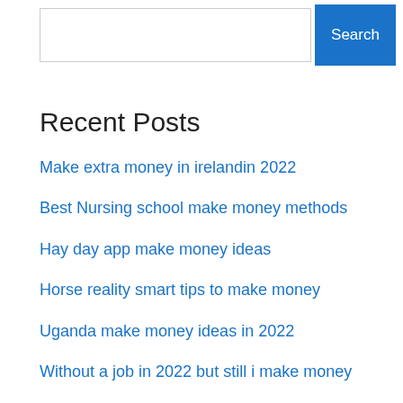[Figure (screenshot): Search bar input box with a blue Search button]
Recent Posts
Make extra money in irelandin 2022
Best Nursing school make money methods
Hay day app make money ideas
Horse reality smart tips to make money
Uganda make money ideas in 2022
Without a job in 2022 but still i make money
Make money in the summer – teenager version
Jalopy make money ideas in 2022
Kenya make money ideas in 2022